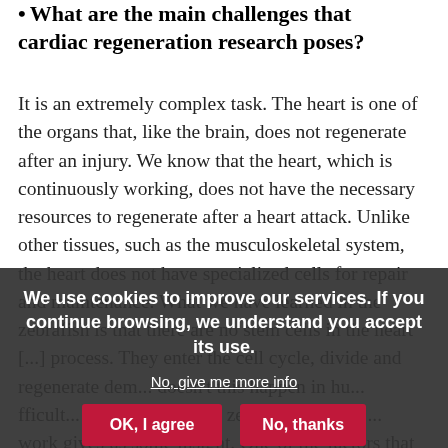• What are the main challenges that cardiac regeneration research poses?
It is an extremely complex task. The heart is one of the organs that, like the brain, does not regenerate after an injury. We know that the heart, which is continuously working, does not have the necessary resources to regenerate after a heart attack. Unlike other tissues, such as the musculoskeletal system, the heart does not have specialized cells for repair and maintenance. What we have learned in the zebrafish is that there are no stem cells in the heart [...] process. They enter the cell cycle, divide and regenerate dam... doesn't this happen in hu... fficult... found... about the zebrafish in t... ... ... work gives us some insight. One of the factors that doesn't allow
We use cookies to improve our services. If you continue browsing, we understand you accept its use.
No, give me more info
OK, I agree   No, thanks